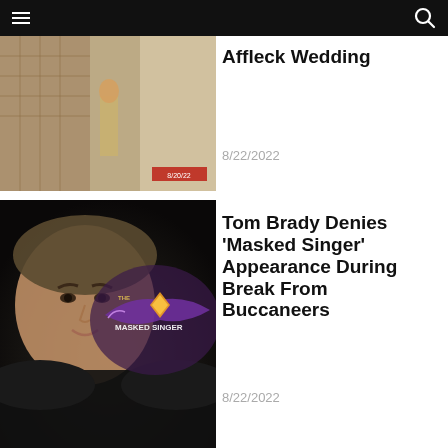Navigation bar with menu and search icons
[Figure (photo): Partially visible thumbnail image for article about Affleck Wedding, showing people in a corridor, date stamp 8/20/22]
Affleck Wedding
8/22/2022
[Figure (photo): Tom Brady's face in foreground with The Masked Singer logo in background, dark background]
Tom Brady Denies 'Masked Singer' Appearance During Break From Buccaneers
8/22/2022